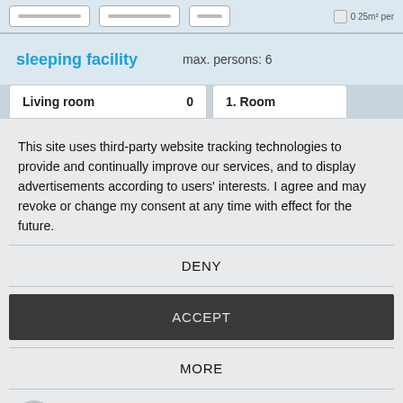[Figure (screenshot): Top UI bar with input fields and checkbox area partially visible]
sleeping facility    max. persons: 6
[Figure (screenshot): Room row showing Living room 0 and 1. Room partially visible]
This site uses third-party website tracking technologies to provide and continually improve our services, and to display advertisements according to users' interests. I agree and may revoke or change my consent at any time with effect for the future.
DENY
ACCEPT
MORE
Powered by  usercentrics & eRecht24